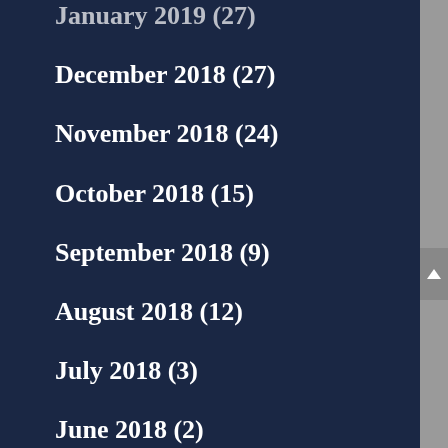January 2019 (27)
December 2018 (27)
November 2018 (24)
October 2018 (15)
September 2018 (9)
August 2018 (12)
July 2018 (3)
June 2018 (2)